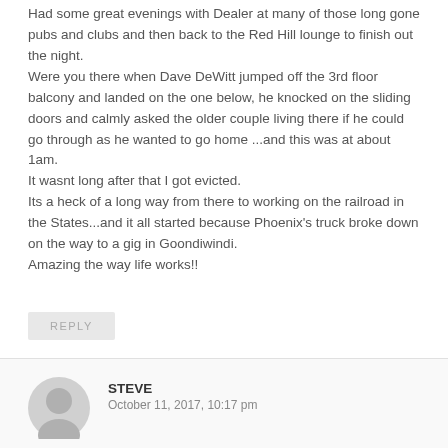Had some great evenings with Dealer at many of those long gone pubs and clubs and then back to the Red Hill lounge to finish out the night.
Were you there when Dave DeWitt jumped off the 3rd floor balcony and landed on the one below, he knocked on the sliding doors and calmly asked the older couple living there if he could go through as he wanted to go home ...and this was at about 1am.
It wasnt long after that I got evicted.
Its a heck of a long way from there to working on the railroad in the States...and it all started because Phoenix's truck broke down on the way to a gig in Goondiwindi.
Amazing the way life works!!
REPLY
STEVE
October 11, 2017, 10:17 pm